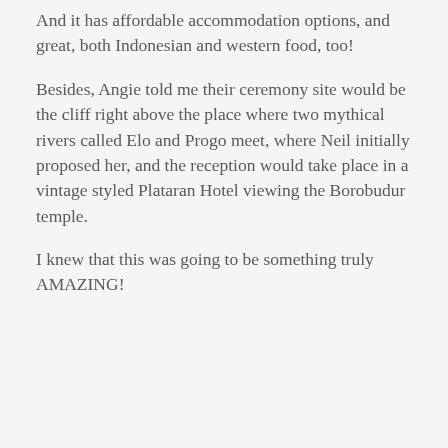And it has affordable accommodation options, and great, both Indonesian and western food, too!
Besides, Angie told me their ceremony site would be the cliff right above the place where two mythical rivers called Elo and Progo meet, where Neil initially proposed her, and the reception would take place in a vintage styled Plataran Hotel viewing the Borobudur temple.
I knew that this was going to be something truly AMAZING!